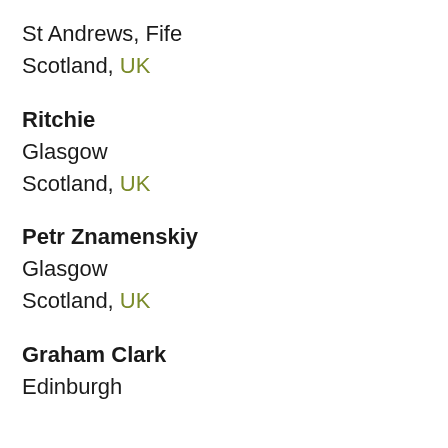St Andrews, Fife
Scotland, UK
Ritchie
Glasgow
Scotland, UK
Petr Znamenskiy
Glasgow
Scotland, UK
Graham Clark
Edinburgh